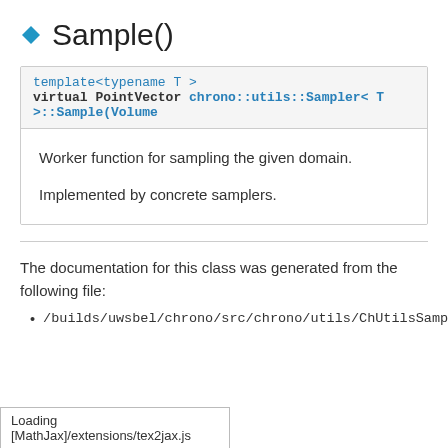◆ Sample()
template<typename T >
virtual PointVector chrono::utils::Sampler< T >::Sample(Volume
Worker function for sampling the given domain.
Implemented by concrete samplers.
The documentation for this class was generated from the following file:
/builds/uwsbel/chrono/src/chrono/utils/ChUtilsSamplers.h
Loading [MathJax]/extensions/tex2jax.js